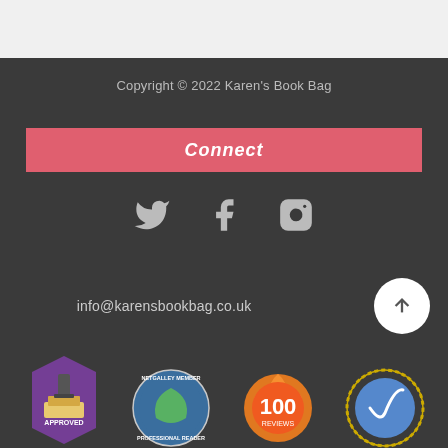Copyright © 2022 Karen's Book Bag
Connect
[Figure (other): Social media icons: Twitter bird, Facebook f, Instagram camera]
info@karensbookbag.co.uk
[Figure (other): Scroll to top button - white circle with upward arrow]
[Figure (other): Four badge logos: Approved stamp, NetGalley Member Professional Reader, 100 Reviews, EU reader badge]